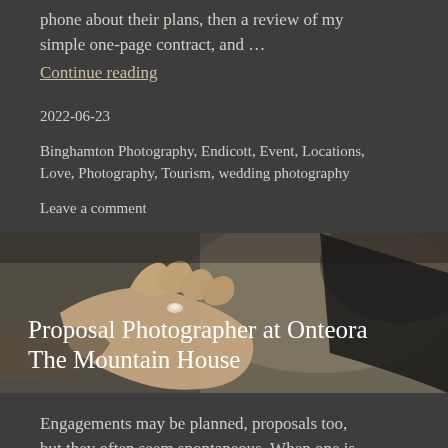phone about their plans, then a review of my simple one-page contract, and …
Continue reading
2022-06-23
Binghamton Photography, Endicott, Event, Locations, Love, Photography, Tourism, wedding photography
Leave a comment
[Figure (photo): Close-up photograph of hands, one placing a ring on another's finger, in a dim setting with a blurred background]
Proposal Photographer at Onteora The Mountain House
Engagements may be planned, proposals too, but they often seem spontaneous. When one is preparing to ask another to marry, often only